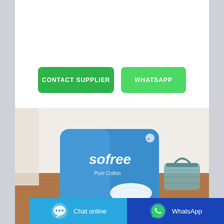[Figure (other): Two buttons: CONTACT SUPPLIER (dark green) and WHATSAPP (light green)]
[Figure (photo): Product photo of Sofree Sanitary Pad Pure Cotton packaging (blue bag, 10 pads) on a wooden surface with a basket in background]
[Figure (other): Bottom bar with Chat online (blue) and WhatsApp (dark blue) buttons with icons]